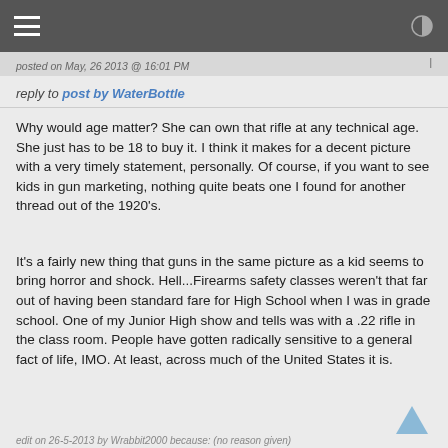posted on May, 26 2013 @ 16:01 PM
reply to post by WaterBottle
Why would age matter? She can own that rifle at any technical age. She just has to be 18 to buy it. I think it makes for a decent picture with a very timely statement, personally. Of course, if you want to see kids in gun marketing, nothing quite beats one I found for another thread out of the 1920's.
It's a fairly new thing that guns in the same picture as a kid seems to bring horror and shock. Hell...Firearms safety classes weren't that far out of having been standard fare for High School when I was in grade school. One of my Junior High show and tells was with a .22 rifle in the class room. People have gotten radically sensitive to a general fact of life, IMO. At least, across much of the United States it is.
edit on 26-5-2013 by Wrabbit2000 because: (no reason given)